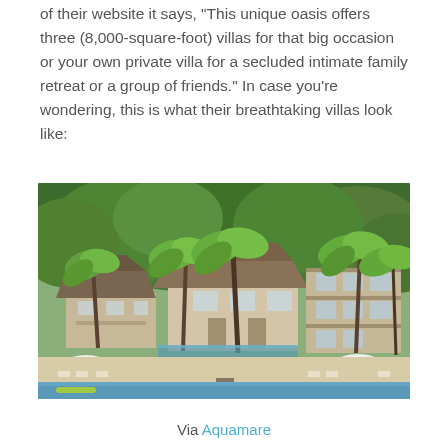of their website it says, “This unique oasis offers three (8,000-square-foot) villas for that big occasion or your own private villa for a secluded intimate family retreat or a group of friends.” In case you’re wondering, this is what their breathtaking villas look like:
[Figure (photo): Aerial/beach-level view of luxury tropical villas with thatched roofs surrounded by palm trees and lush green hillside, with a sandy beach and turquoise water in the foreground.]
Via Aquamare